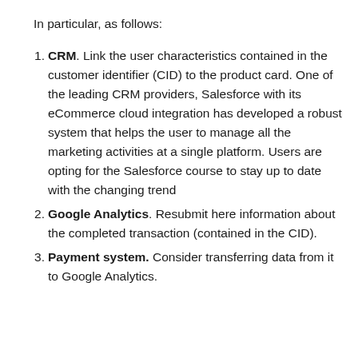In particular, as follows:
CRM. Link the user characteristics contained in the customer identifier (CID) to the product card. One of the leading CRM providers, Salesforce with its eCommerce cloud integration has developed a robust system that helps the user to manage all the marketing activities at a single platform. Users are opting for the Salesforce course to stay up to date with the changing trend
Google Analytics. Resubmit here information about the completed transaction (contained in the CID).
Payment system. Consider transferring data from it to Google Analytics.